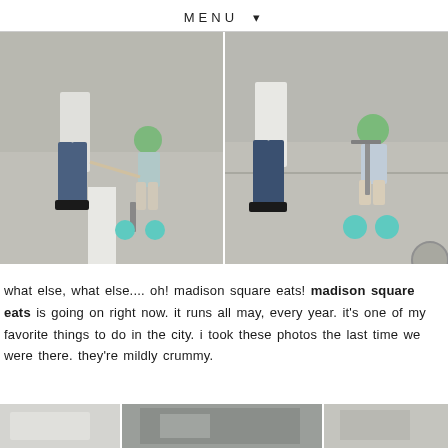MENU ▼
[Figure (photo): Left photo: adult and young child with green helmet on a scooter on a paved area outdoors]
[Figure (photo): Right photo: adult and young child with green helmet riding a scooter on a paved area outdoors, closer view]
what else, what else.... oh! madison square eats! madison square eats is going on right now. it runs all may, every year. it's one of my favorite things to do in the city. i took these photos the last time we were there. they're mildly crummy.
[Figure (photo): Bottom strip showing partial photos at the bottom of the page]